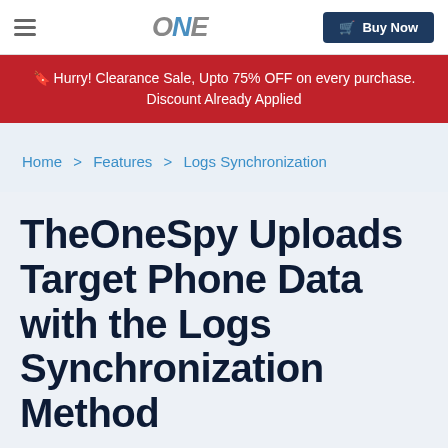ONE | Buy Now
Hurry! Clearance Sale, Upto 75% OFF on every purchase. Discount Already Applied
Home > Features > Logs Synchronization
TheOneSpy Uploads Target Phone Data with the Logs Synchronization Method